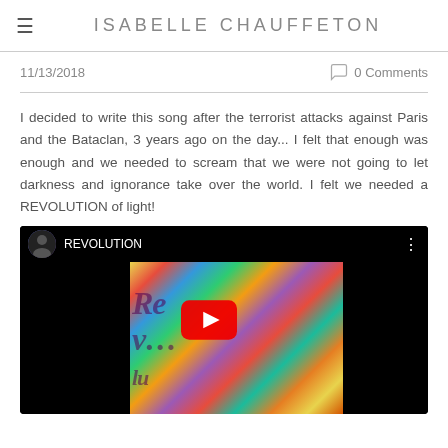ISABELLE CHAUFFETON
11/13/2018
0 Comments
I decided to write this song after the terrorist attacks against Paris and the Bataclan, 3 years ago on the day... I felt that enough was enough and we needed to scream that we were not going to let darkness and ignorance take over the world. I felt we needed a REVOLUTION of light!
[Figure (screenshot): YouTube video embed showing a music video titled REVOLUTION by Isabelle Chauffeton, with colorful artwork thumbnail and a red play button, flanked by black bars on left and right.]